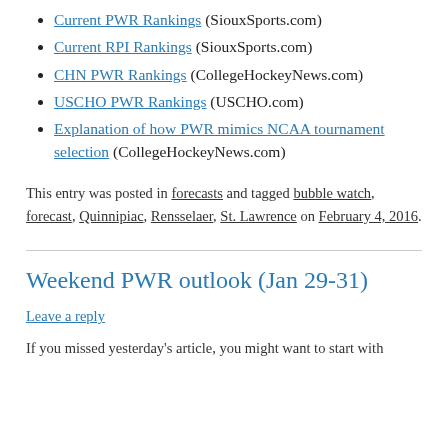Current PWR Rankings (SiouxSports.com)
Current RPI Rankings (SiouxSports.com)
CHN PWR Rankings (CollegeHockeyNews.com)
USCHO PWR Rankings (USCHO.com)
Explanation of how PWR mimics NCAA tournament selection (CollegeHockeyNews.com)
This entry was posted in forecasts and tagged bubble watch, forecast, Quinnipiac, Rensselaer, St. Lawrence on February 4, 2016.
Weekend PWR outlook (Jan 29-31)
Leave a reply
If you missed yesterday's article, you might want to start with